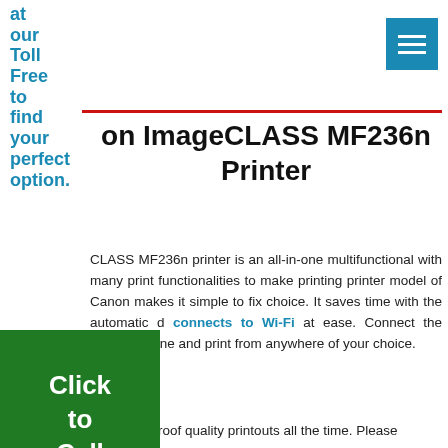at our Toll Free to find your perfect option.
[Figure (other): Hamburger menu button (blue square with three white horizontal lines)]
on ImageCLASS MF236n Printer
CLASS MF236n printer is an all-in-one multifunctional with many print functionalities to make printing printer model of Canon makes it simple to fix choice. It saves time with the automatic d connects to Wi-Fi at ease. Connect the Canon tphone and print from anywhere of your choice.
[Figure (other): Green Click to Call button]
It also delivers smudge-proof quality printouts all the time. Please